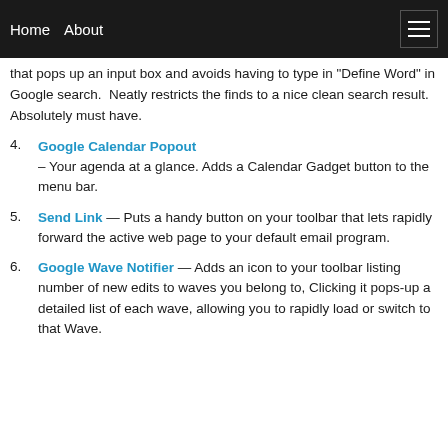Home  About
that pops up an input box and avoids having to type in "Define Word" in Google search.  Neatly restricts the finds to a nice clean search result. Absolutely must have.
4. Google Calendar Popout – Your agenda at a glance. Adds a Calendar Gadget button to the menu bar.
5. Send Link — Puts a handy button on your toolbar that lets rapidly forward the active web page to your default email program.
6. Google Wave Notifier — Adds an icon to your toolbar listing number of new edits to waves you belong to, Clicking it pops-up a detailed list of each wave, allowing you to rapidly load or switch to that Wave.